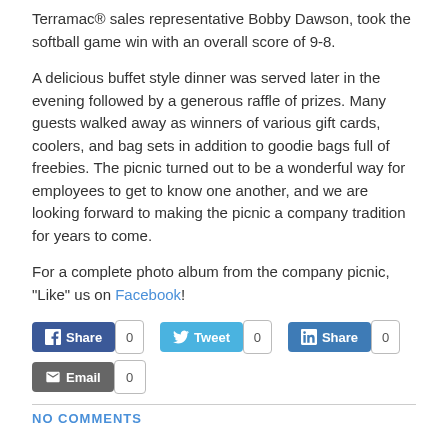Terramac® sales representative Bobby Dawson, took the softball game win with an overall score of 9-8.
A delicious buffet style dinner was served later in the evening followed by a generous raffle of prizes. Many guests walked away as winners of various gift cards, coolers, and bag sets in addition to goodie bags full of freebies. The picnic turned out to be a wonderful way for employees to get to know one another, and we are looking forward to making the picnic a company tradition for years to come.
For a complete photo album from the company picnic, "Like" us on Facebook!
[Figure (infographic): Social sharing buttons: Facebook Share (0), Twitter Tweet (0), LinkedIn Share (0), Email (0)]
NO COMMENTS